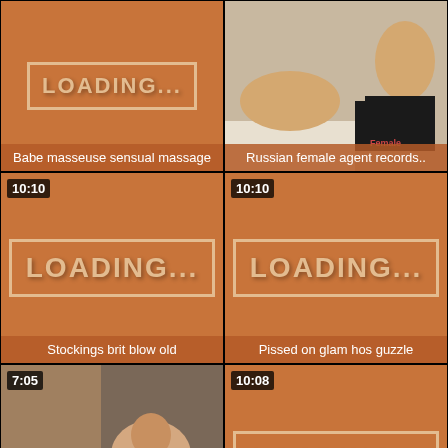[Figure (screenshot): Video thumbnail showing loading screen with orange background]
Babe masseuse sensual massage
[Figure (photo): Photo of a person on white floor]
Russian female agent records..
[Figure (screenshot): Loading screen thumbnail 10:10]
Stockings brit blow old
[Figure (screenshot): Loading screen thumbnail 10:10]
Pissed on glam hos guzzle
[Figure (photo): Video thumbnail 7:05 showing person]
Fucking Glasses - Surprise fuck..
[Figure (screenshot): Loading screen thumbnail 10:08]
Cum guzzling slut facialized
[Figure (screenshot): Loading screen thumbnail 12:08]
[Figure (screenshot): Loading screen thumbnail 11:42]